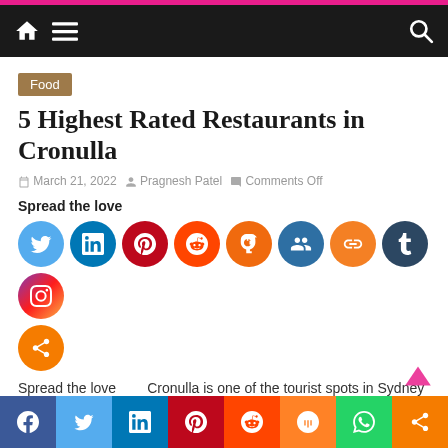Navigation bar with home, menu, and search icons
Food
5 Highest Rated Restaurants in Cronulla
March 21, 2022  Pragnesh Patel  Comments Off
Spread the love
[Figure (infographic): Row of social sharing icons: Twitter, LinkedIn, Pinterest, Reddit, Mastodon, Meneame, Copy Link, Tumblr, Instagram, Share]
Spread the love       Cronulla is one of the tourist spots in Sydney surrounded by beautiful sandy beaches and the best restaurants
Bottom social share bar: Facebook, Twitter, LinkedIn, Pinterest, Reddit, Mix, WhatsApp, Share